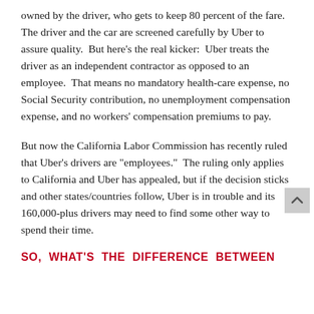owned by the driver, who gets to keep 80 percent of the fare.  The driver and the car are screened carefully by Uber to assure quality.  But here's the real kicker:  Uber treats the driver as an independent contractor as opposed to an employee.  That means no mandatory health-care expense, no Social Security contribution, no unemployment compensation expense, and no workers' compensation premiums to pay.
But now the California Labor Commission has recently ruled that Uber's drivers are "employees."  The ruling only applies to California and Uber has appealed, but if the decision sticks and other states/countries follow, Uber is in trouble and its 160,000-plus drivers may need to find some other way to spend their time.
SO,  WHAT'S  THE  DIFFERENCE  BETWEEN